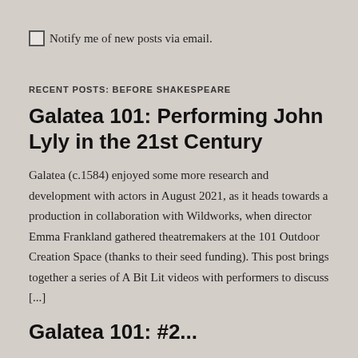Notify me of new posts via email.
RECENT POSTS: BEFORE SHAKESPEARE
Galatea 101: Performing John Lyly in the 21st Century
Galatea (c.1584) enjoyed some more research and development with actors in August 2021, as it heads towards a production in collaboration with Wildworks, when director Emma Frankland gathered theatremakers at the 101 Outdoor Creation Space (thanks to their seed funding). This post brings together a series of A Bit Lit videos with performers to discuss [...]
Galatea 101: #2...